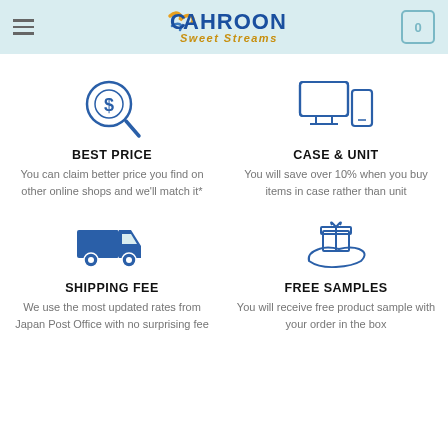Cahroon Sweet Streams — navigation header with logo and cart
[Figure (illustration): Magnifying glass with dollar sign icon (price search)]
BEST PRICE
You can claim better price you find on other online shops and we'll match it*
[Figure (illustration): Desktop monitor and mobile phone icons (case and unit)]
CASE & UNIT
You will save over 10% when you buy items in case rather than unit
[Figure (illustration): Delivery truck icon (shipping fee)]
SHIPPING FEE
We use the most updated rates from Japan Post Office with no surprising fee
[Figure (illustration): Gift box on a hand icon (free samples)]
FREE SAMPLES
You will receive free product sample with your order in the box